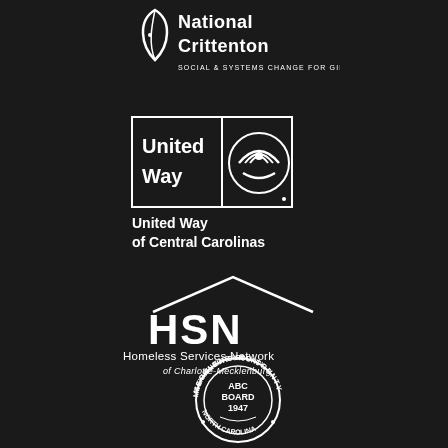[Figure (logo): National Crittenton logo - white leaf/flame icon with text 'National Crittenton' and tagline 'SOCIAL & SYSTEMS CHANGE FOR GIRLS' on dark background]
[Figure (logo): United Way logo - white bordered box with 'United Way' text on left and rainbow/hands icon on right, with text below 'United Way of Central Carolinas' on dark background]
[Figure (logo): HSN Homeless Services Network logo - white house/roof outline with HSN letters, and text 'Homeless Services Network of Charlotte-Mecklenburg' on dark background]
[Figure (logo): Mecklenburg County ABC Board 1947 North Carolina circular seal - white circle with text around border and central emblem with wreath and pine cone on dark background]